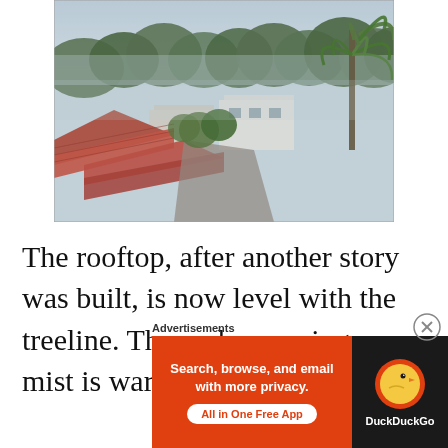[Figure (photo): Aerial/elevated view of tropical rooftops with red clay tiles in the foreground, white concrete buildings in the middle, and dense palm trees and tropical forest in the background under a hazy overcast sky. Morning mist visible.]
The rooftop, after another story was built, is now level with the treeline. The early morning mist is warm like the vapor of a
Advertisements
[Figure (infographic): DuckDuckGo advertisement banner. Left side: orange background with white bold text 'Search, browse, and email with more privacy.' and a white pill button 'All in One Free App'. Right side: dark background with DuckDuckGo duck logo circle and white text 'DuckDuckGo'.]